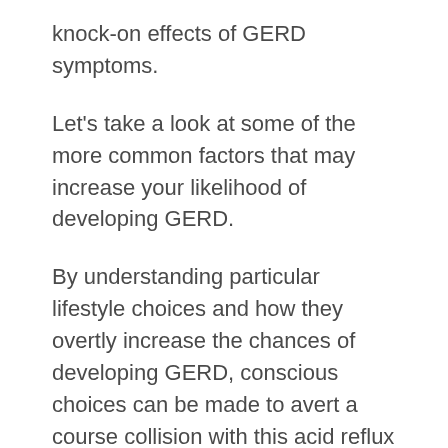knock-on effects of GERD symptoms.
Let's take a look at some of the more common factors that may increase your likelihood of developing GERD.
By understanding particular lifestyle choices and how they overtly increase the chances of developing GERD, conscious choices can be made to avert a course collision with this acid reflux disease.
Obesity